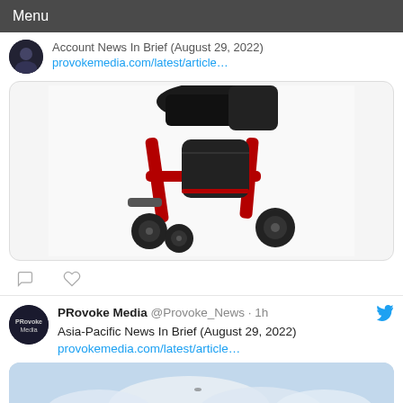Menu
Account News In Brief (August 29, 2022)
provokemedia.com/latest/article…
[Figure (photo): A red and black mobility rollator/walker with wheels on a white background]
PRovoke Media @Provoke_News · 1h
Asia-Pacific News In Brief (August 29, 2022)
provokemedia.com/latest/article…
[Figure (photo): Sky with clouds, partial view at bottom of page]